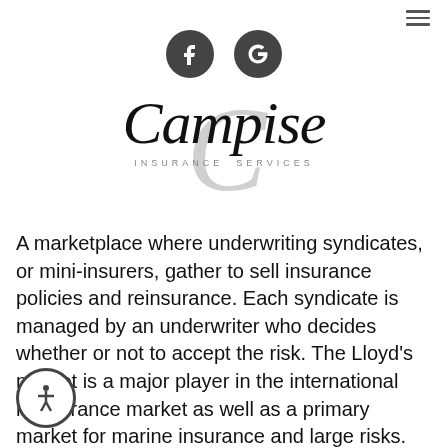[Figure (logo): Campise Insurance Services logo with stylized script 'Campise' text over a large grey C letterform, with 'INSURANCE SERVICES' subtitle below]
A marketplace where underwriting syndicates, or mini-insurers, gather to sell insurance policies and reinsurance. Each syndicate is managed by an underwriter who decides whether or not to accept the risk. The Lloyd's market is a major player in the international reinsurance market as well as a primary market for marine insurance and large risks. Originally, Lloyd's was a London coffee house in the 1600s patronized by shipowners who insured each other's hulls and cargoes.